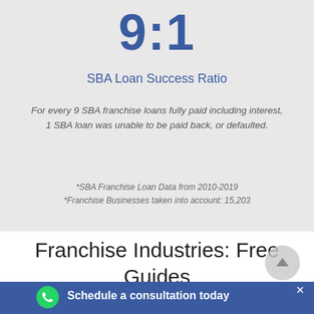9:1
SBA Loan Success Ratio
For every 9 SBA franchise loans fully paid including interest, 1 SBA loan was unable to be paid back, or defaulted.
*SBA Franchise Loan Data from 2010-2019
*Franchise Businesses taken into account: 15,203
Franchise Industries: Free Guides Available
Schedule a consultation today